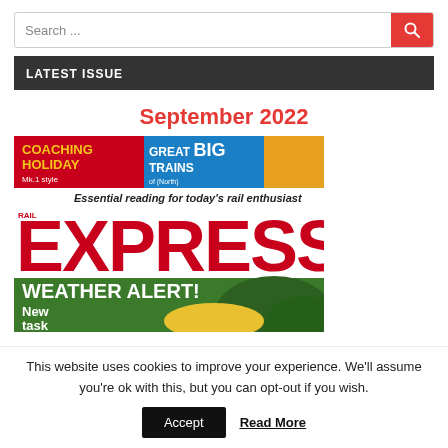Search ...
LATEST ISSUE
September 2022
[Figure (photo): Rail Express magazine cover for September 2022 featuring 'WEATHER ALERT!' headline, 'COACHING HOLIDAY Mk.1 style' and 'GREAT BIG TRAINS of (North) Wales' banners, and 'Essential reading for today's rail enthusiast' tagline]
This website uses cookies to improve your experience. We'll assume you're ok with this, but you can opt-out if you wish.
Accept   Read More